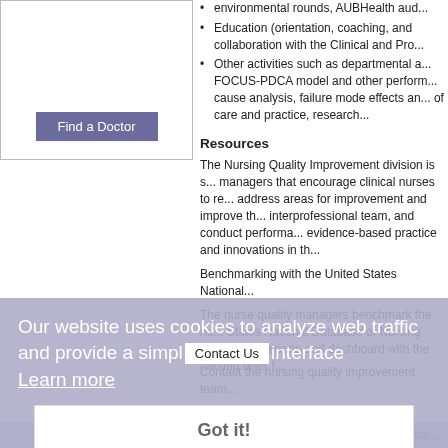[Figure (other): White box with a 'Find a Doctor' purple button inside]
environmental rounds, AUBHealth aud...
Education (orientation, coaching, and collaboration with the Clinical and Pro...
Other activities such as departmental a... FOCUS-PDCA model and other perform... cause analysis, failure mode effects an... of care and practice, research...
Resources
The Nursing Quality Improvement division is s... managers that encourage clinical nurses to re... address areas for improvement and improve th... interprofessional team, and conduct performa... evidence-based practice and innovations in th...
Benchmarking with the United States National...
The nurse quality managers benchmark the nu... States National Database of Nursing Quality In... reports and dashboard with the nursing units f...
Our website uses cookies to analyze web traffic and provide a simpl...interface
Learn more
Contact Us
Contact the nursing quality improvement team...
Got it!
Webmai...